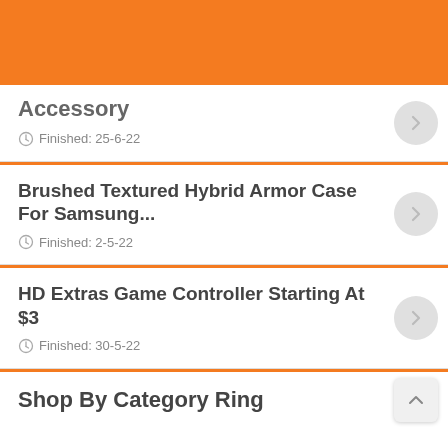[Figure (other): Orange header banner at top of page]
Accessory
Finished: 25-6-22
Brushed Textured Hybrid Armor Case For Samsung...
Finished: 2-5-22
HD Extras Game Controller Starting At $3
Finished: 30-5-22
Shop By Category Ring